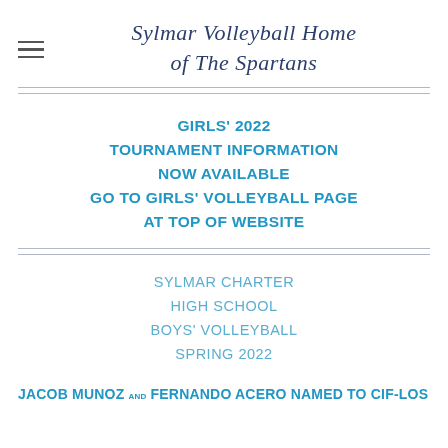Sylmar Volleyball Home of The Spartans
GIRLS' 2022 TOURNAMENT INFORMATION NOW AVAILABLE GO TO GIRLS' VOLLEYBALL PAGE AT TOP OF WEBSITE
SYLMAR CHARTER HIGH SCHOOL BOYS' VOLLEYBALL SPRING 2022
JACOB MUNOZ and FERNANDO ACERO NAMED TO CIF-LOS